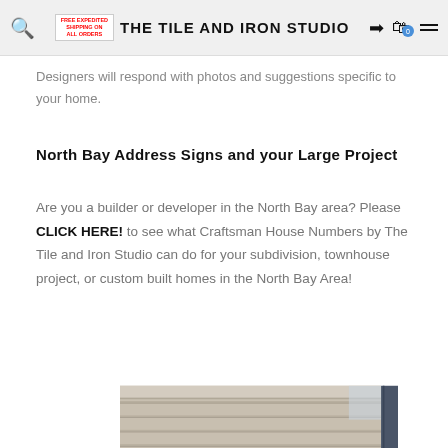FREE EXPEDITED SHIPPING ON ALL ORDERS  THE TILE AND IRON STUDIO
Designers will respond with photos and suggestions specific to your home.
North Bay Address Signs and your Large Project
Are you a builder or developer in the North Bay area? Please CLICK HERE! to see what Craftsman House Numbers by The Tile and Iron Studio can do for your subdivision, townhouse project, or custom built homes in the North Bay Area!
[Figure (photo): Photo of a house exterior showing horizontal lap siding in beige/tan color with a window frame visible at the bottom, and a small portion of a dark blue/navy structure visible at the right edge.]